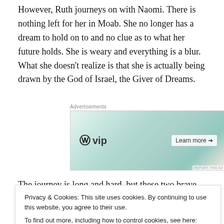However, Ruth journeys on with Naomi. There is nothing left for her in Moab. She no longer has a dream to hold on to and no clue as to what her future holds. She is weary and everything is a blur. What she doesn't realize is that she is actually being drawn by the God of Israel, the Giver of Dreams.
[Figure (other): WordPress VIP advertisement banner showing WP VIP logo alongside colorful social media app icons (Slack, Facebook, Canva) with 'Learn more →' button]
The journey is long and hard, but these two brave women
implores Ruth to stay in his field; he will provide for her
Privacy & Cookies: This site uses cookies. By continuing to use this website, you agree to their use.
To find out more, including how to control cookies, see here: Cookie Policy